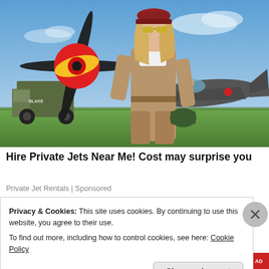[Figure (photo): A blonde woman wearing a red cap, yellow sunglasses, and a tan flight suit walks across an airfield in front of a vintage WWII-era propeller plane with a red-and-yellow spinner. A military truck is visible in the background on the left, and blue sky with light clouds is overhead.]
Hire Private Jets Near Me! Cost may surprise you
Private Jet Rentals | Sponsored
Privacy & Cookies: This site uses cookies. By continuing to use this website, you agree to their use.
To find out more, including how to control cookies, see here: Cookie Policy